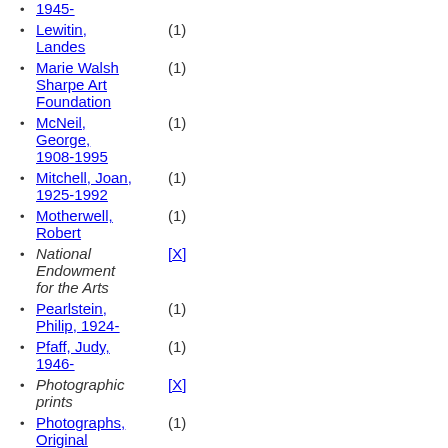1945- (1)
Lewitin, Landes (1)
Marie Walsh Sharpe Art Foundation (1)
McNeil, George, 1908-1995 (1)
Mitchell, Joan, 1925-1992 (1)
Motherwell, Robert (1)
National Endowment for the Arts [X]
Pearlstein, Philip, 1924- (1)
Pfaff, Judy, 1946- (1)
Photographic prints [X]
Photographs, Original (1)
Posters (1)
Resnick, Milton, 1917-2004 (1)